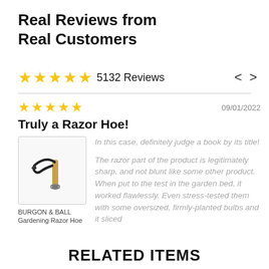Real Reviews from Real Customers
★★★★★ 5132 Reviews  <  >
★★★★★  09/01/2022
Truly a Razor Hoe!
[Figure (photo): Photo of BURGON & BALL Gardening Razor Hoe tool with curved black blade, wooden handle, and metal attachment]
BURGON & BALL Gardening Razor Hoe
In this case, definitely judge a book by its title!

The razor part of the product is legitimately sharp, and not blunt like some other product. When put to the test in the garden bed, it worked flawlessly. Even stress-tested them with some oversized, firmly-planted bulbs and it sliced
RELATED ITEMS